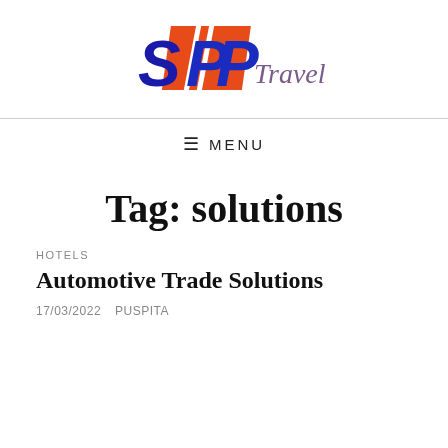[Figure (logo): SPP Travel logo with red and orange square shape, blue bold 'SPP' text with diagonal lines, and purple italic 'Travel' text]
≡ MENU
Tag: solutions
HOTELS
Automotive Trade Solutions
17/03/2022   PUSPITA